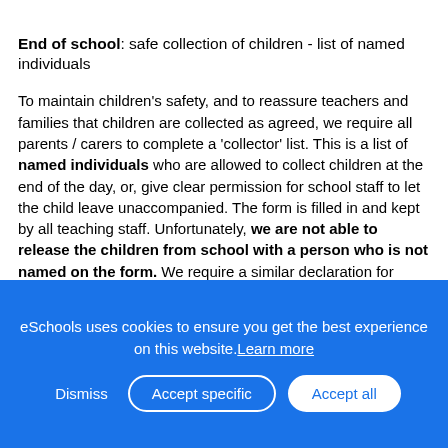End of school: safe collection of children - list of named individuals
To maintain children's safety, and to reassure teachers and families that children are collected as agreed, we require all parents / carers to complete a 'collector' list. This is a list of named individuals who are allowed to collect children at the end of the day, or, give clear permission for school staff to let the child leave unaccompanied. The form is filled in and kept by all teaching staff. Unfortunately, we are not able to release the children from school with a person who is not named on the form. We require a similar declaration for 'after school clubs'. Please ensure you keep these up to date to avoid confusion or anxiety, and inform us if you wish to make any changes to the named list.
eSchools uses cookies to ensure you get the best experience on this website. Learn more
Dismiss | Accept specific | Accept all